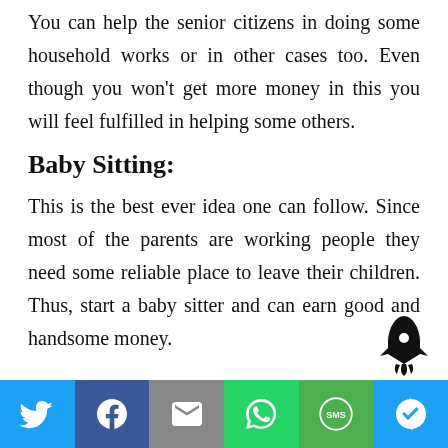You can help the senior citizens in doing some household works or in other cases too. Even though you won't get more money in this you will feel fulfilled in helping some others.
Baby Sitting:
This is the best ever idea one can follow. Since most of the parents are working people they need some reliable place to leave their children. Thus, start a baby sitter and can earn good and handsome money.
[Figure (illustration): Rocket icon (black silhouette) in the bottom-right of the content area]
[Figure (infographic): Social media share bar at the bottom with Twitter, Facebook, Email, WhatsApp, SMS, and More buttons]